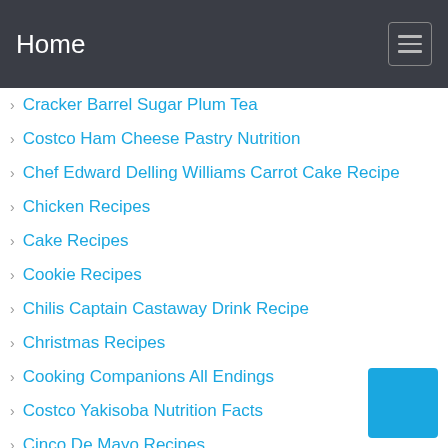Home
Cracker Barrel Sugar Plum Tea
Costco Ham Cheese Pastry Nutrition
Chef Edward Delling Williams Carrot Cake Recipe
Chicken Recipes
Cake Recipes
Cookie Recipes
Chilis Captain Castaway Drink Recipe
Christmas Recipes
Cooking Companions All Endings
Costco Yakisoba Nutrition Facts
Cinco De Mayo Recipes
Crumbl Cookies Coupon Qr Code